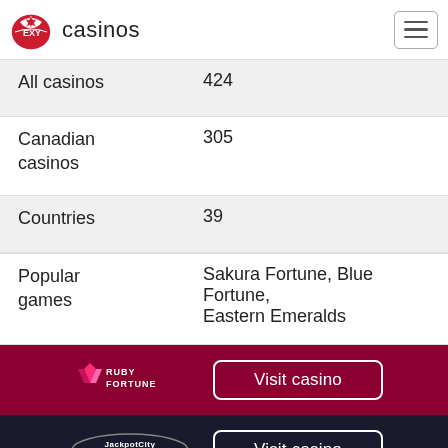[Figure (logo): EXY Casinos logo with dice icon and hamburger menu button]
| All casinos | 424 |
| Canadian casinos | 305 |
| Countries | 39 |
| Popular games | Sakura Fortune, Blue Fortune, Eastern Emeralds |
[Figure (logo): Ruby Fortune casino logo with Visit casino button on dark red background]
[Figure (logo): JackpotCity casino logo with Visit casino button on dark navy background]
[Figure (logo): All Slots casino logo with Visit casino button on blue background]